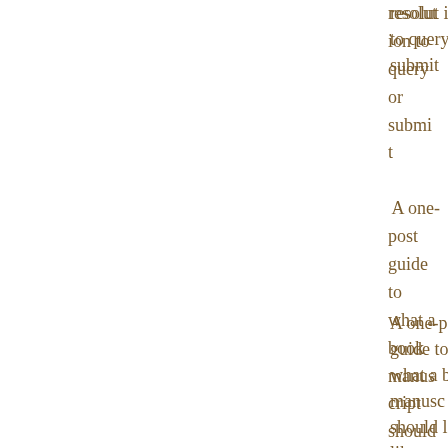resolution to query or submit
A one-post guide to what a book manuscript should look like
Help! I'm scared to